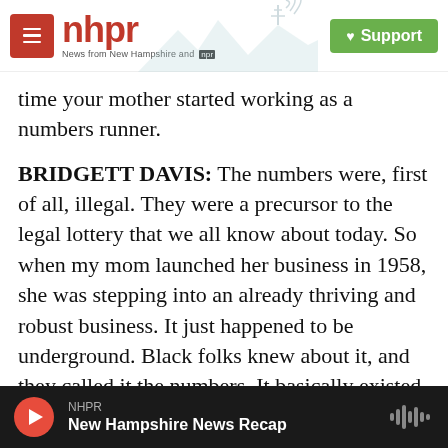nhpr — News from New Hampshire and NPR | Support
time your mother started working as a numbers runner.
BRIDGETT DAVIS: The numbers were, first of all, illegal. They were a precursor to the legal lottery that we all know about today. So when my mom launched her business in 1958, she was stepping into an already thriving and robust business. It just happened to be underground. Black folks knew about it, and they called it the numbers. It basically existed across the country thanks to the Great Migration. Black folks had taken this business to different cities, even though it began in Harlem. So
NHPR — New Hampshire News Recap